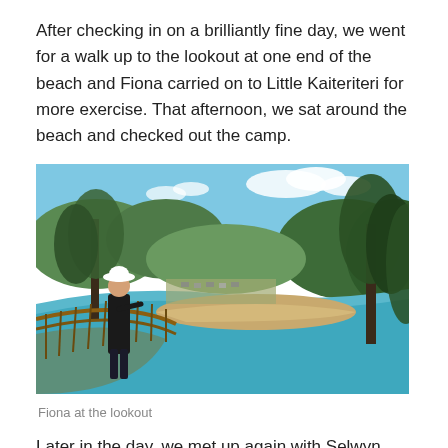After checking in on a brilliantly fine day, we went for a walk up to the lookout at one end of the beach and Fiona carried on to Little Kaiteriteri for more exercise. That afternoon, we sat around the beach and checked out the camp.
[Figure (photo): A woman wearing a white hat and black top stands on a viewing platform with wooden railings, looking out over a bay. The bay has a sandy beach, calm blue-green water, trees and hills in the background, and a campsite/carpark area visible around the water's edge. Clear blue sky with some clouds.]
Fiona at the lookout
Later in the day, we met up again with Selwyn and Lynda who were only parked two away from us so we